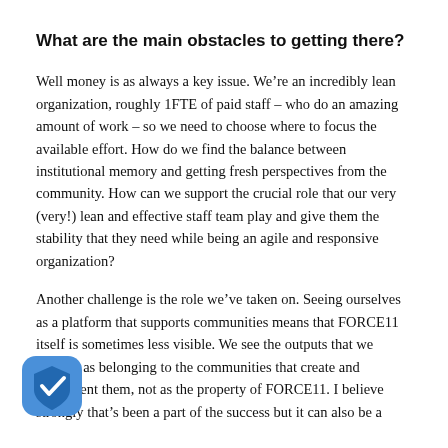What are the main obstacles to getting there?
Well money is as always a key issue. We're an incredibly lean organization, roughly 1FTE of paid staff – who do an amazing amount of work – so we need to choose where to focus the available effort. How do we find the balance between institutional memory and getting fresh perspectives from the community. How can we support the crucial role that our very (very!) lean and effective staff team play and give them the stability that they need while being an agile and responsive organization?
Another challenge is the role we've taken on. Seeing ourselves as a platform that supports communities means that FORCE11 itself is sometimes less visible. We see the outputs that we support as belonging to the communities that create and implement them, not as the property of FORCE11. I believe strongly that's been a part of the success but it can also be a